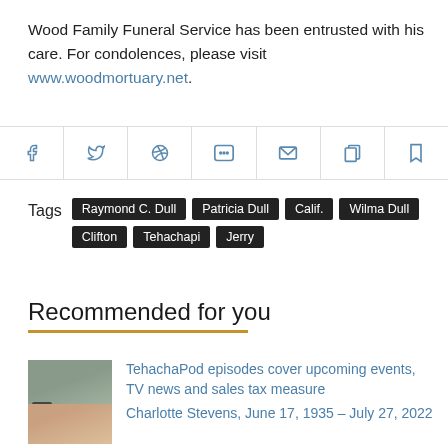Wood Family Funeral Service has been entrusted with his care. For condolences, please visit www.woodmortuary.net.
[Figure (other): Social sharing icon bar with icons for Facebook, Twitter, WhatsApp, SMS/chat, email, copy, and bookmark]
Tags  Raymond C. Dull  Patricia Dull  Calif.  Wilma Dull  Clifton  Tehachapi  Jerry
Recommended for you
TehachaPod episodes cover upcoming events, TV news and sales tax measure
Charlotte Stevens, June 17, 1935 – July 27, 2022